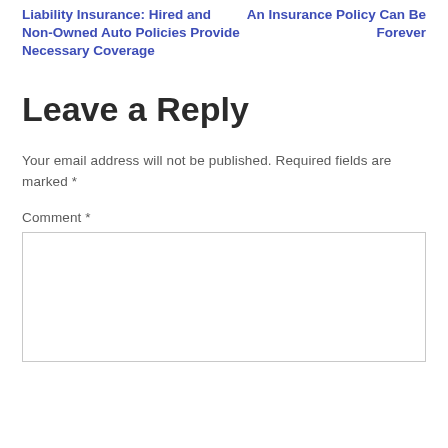Liability Insurance: Hired and Non-Owned Auto Policies Provide Necessary Coverage
An Insurance Policy Can Be Forever
Leave a Reply
Your email address will not be published. Required fields are marked *
Comment *